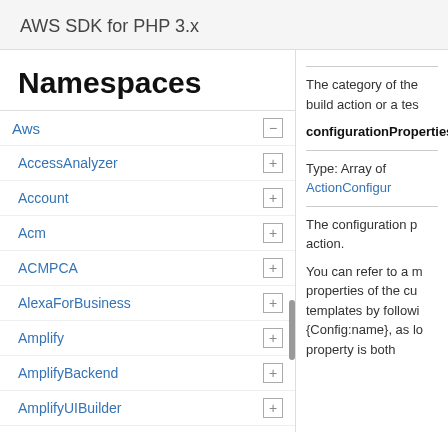AWS SDK for PHP 3.x
Namespaces
Aws
AccessAnalyzer
Account
Acm
ACMPCA
AlexaForBusiness
Amplify
AmplifyBackend
AmplifyUIBuilder
Api
ApiGateway
ApiGatewayManagementApi
The category of the build action or a tes
configurationProperties
Type: Array of ActionConfigur
The configuration p action.
You can refer to a m properties of the cu templates by followi {Config:name}, as lo property is both